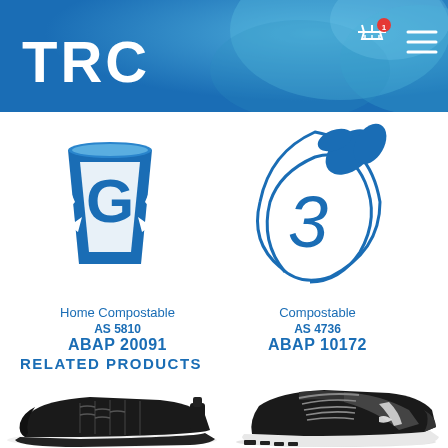TRC
[Figure (logo): Home Compostable certification logo — blue cup icon with recycling arrows]
Home Compostable
AS 5810
ABAP 20091
[Figure (logo): Compostable certification logo — blue seedling/leaf with number 3 and ribbon]
Compostable
AS 4736
ABAP 10172
RELATED PRODUCTS
[Figure (photo): Black leather walking/running shoe (Brooks), side view on white background]
[Figure (photo): Black and white athletic running shoe (Brooks Adrenaline GTS), side view on white background]